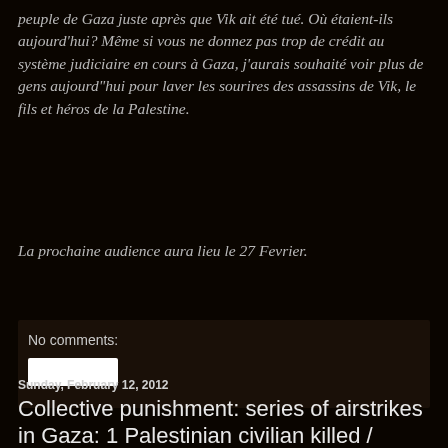peuple de Gaza juste après que Vik ait été tué. Où étaient-ils aujourd'hui? Même si vous ne donnez pas trop de crédit au système judiciaire en cours à Gaza, j'aurais souhaité voir plus de gens aujourd"hui pour laver les sourires des assassins de Vik, le fils et héros de la Palestine.
La prochaine audience aura lieu le 27 Fevrier.
No comments:
Sunday, February 12, 2012
Collective punishment: series of airstrikes in Gaza: 1 Palestinian civilian killed / Punition collective: series de bombardements à Gaza; 12.02.2012